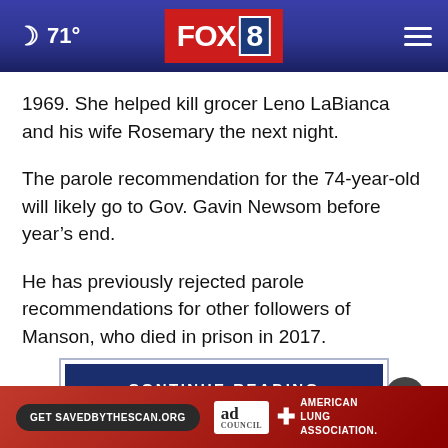🌙 71° FOX 8
1969. She helped kill grocer Leno LaBianca and his wife Rosemary the next night.
The parole recommendation for the 74-year-old will likely go to Gov. Gavin Newsom before year's end.
He has previously rejected parole recommendations for other followers of Manson, who died in prison in 2017.
[Figure (other): CONTINUE READING button with close X circle, overlaid on a faded blue gradient background]
[Figure (other): Ad banner: Get SAVEDBYTHESCAN.ORG, Ad Council logo, American Lung Association logo on red background]